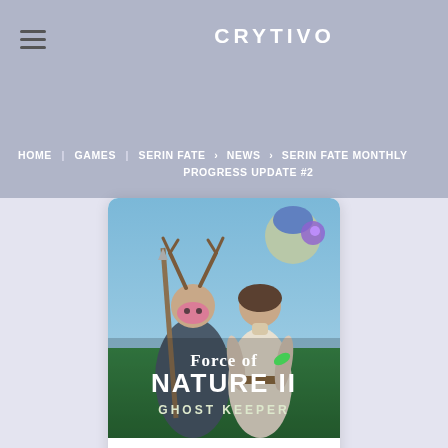Crytivo
HOME | GAMES | SERIN FATE > NEWS > SERIN FATE MONTHLY PROGRESS UPDATE #2
[Figure (illustration): Force of Nature 2: Ghost Keeper game cover art showing two fantasy characters (one with antlers wearing a pink mask, one with a blue cap), green nature background, with text 'Force of Nature NATURE II GHOST KEEPER']
Force of Nature 2: Ghost Keeper
$ 15.99